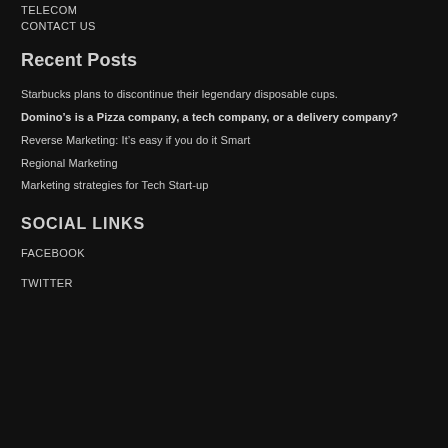TELECOM
CONTACT US
Recent Posts
Starbucks plans to discontinue their legendary disposable cups.
Domino’s is a Pizza company, a tech company, or a delivery company?
Reverse Marketing: It’s easy if you do it Smart
Regional Marketing
Marketing strategies for Tech Start-up
SOCIAL LINKS
FACEBOOK
TWITTER